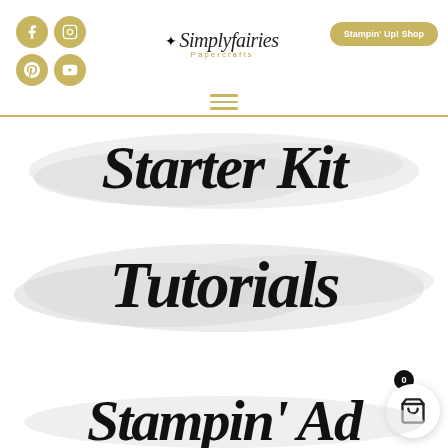[Figure (logo): Simplyfairies Papercrafts logo with fairy icon, italic script text, and gold Papercrafts subtitle]
[Figure (infographic): Four gold circular social media icons: Facebook, Instagram, Pinterest, YouTube]
[Figure (other): Gold rounded rectangle button with text 'Stampin' Up! Shop']
[Figure (other): Gold hamburger menu icon (three horizontal lines)]
Starter Kit
Tutorials
Stampin Ad
[Figure (other): White circle shopping cart button with '0' badge indicator]